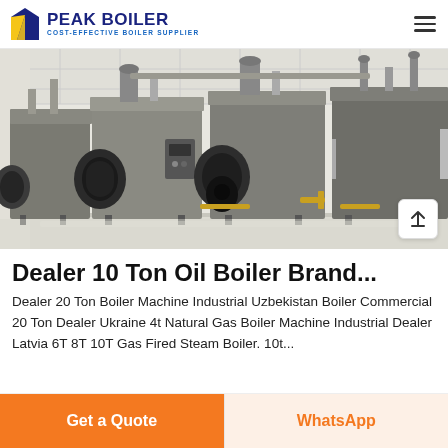PEAK BOILER COST-EFFECTIVE BOILER SUPPLIER
[Figure (photo): Industrial steam boilers installed in a clean white facility, showing multiple large grey boiler units with cylindrical burners attached to the front, pipes and fittings visible, reflective floor.]
Dealer 10 Ton Oil Boiler Brand...
Dealer 20 Ton Boiler Machine Industrial Uzbekistan Boiler Commercial 20 Ton Dealer Ukraine 4t Natural Gas Boiler Machine Industrial Dealer Latvia 6T 8T 10T Gas Fired Steam Boiler. 10t...
Get a Quote
WhatsApp